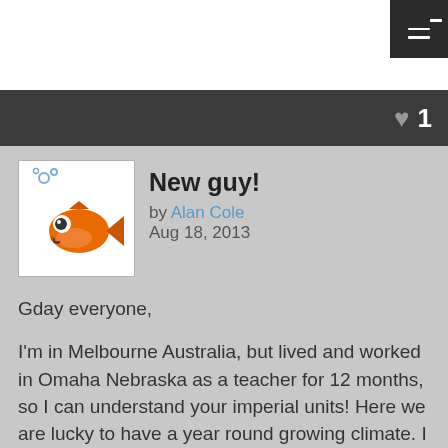☰
♥ 1
New guy!
by Alan Cole
Aug 18, 2013
Gday everyone,
I'm in Melbourne Australia, but lived and worked in Omaha Nebraska as a teacher for 12 months, so I can understand your imperial units! Here we are lucky to have a year round growing climate. I am thinking about building a system using a 1500L Spa as the fish tank (about 600 gal?). The growbeds will be made from IBCs.
The good thing about the spa is that it has a built in heater if I need it, and I figure it will have better insulation than an IBC. It is lined with a type of rubber however, do